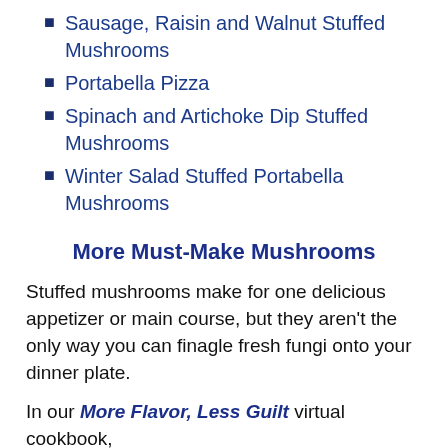Sausage, Raisin and Walnut Stuffed Mushrooms
Portabella Pizza
Spinach and Artichoke Dip Stuffed Mushrooms
Winter Salad Stuffed Portabella Mushrooms
More Must-Make Mushrooms
Stuffed mushrooms make for one delicious appetizer or main course, but they aren't the only way you can finagle fresh fungi onto your dinner plate.
In our More Flavor, Less Guilt virtual cookbook,